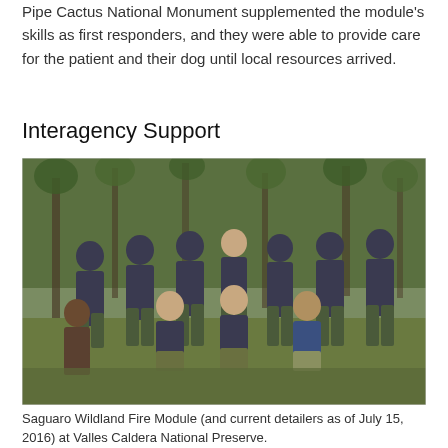Pipe Cactus National Monument supplemented the module's skills as first responders, and they were able to provide care for the patient and their dog until local resources arrived.
Interagency Support
[Figure (photo): Group photo of the Saguaro Wildland Fire Module and current detailers as of July 15, 2016, standing and kneeling in a forest clearing at Valles Caldera National Preserve. Approximately 12 people wearing dark shirts and green/grey pants pose together outdoors with pine trees in the background.]
Saguaro Wildland Fire Module (and current detailers as of July 15, 2016) at Valles Caldera National Preserve.